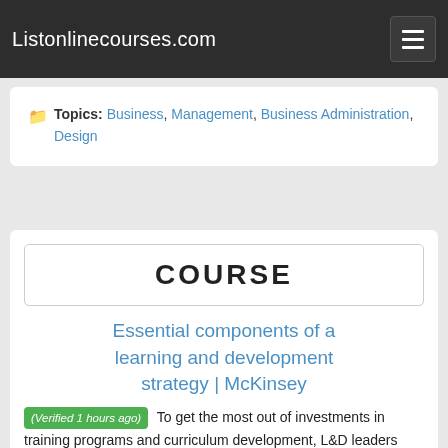Listonlinecourses.com
Topics: Business, Management, Business Administration, Design
COURSE
Essential components of a learning and development strategy | McKinsey
(Verified 1 hours ago) To get the most out of investments in training programs and curriculum development, L&D leaders must embrace a broader role within the organization and formulate an ambitious vision for the function. An essential component of this effort is a comprehensive, coordinated strategy that engages the organization